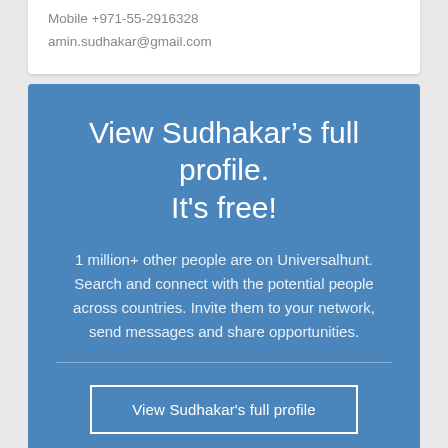Mobile +971-55-2916328
amin.sudhakar@gmail.com
View Sudhakar’s full profile. It's free!
1 million+ other people are on Universalhunt. Search and connect with the potential people across countries. Invite them to your network, send messages and share opportunities.
View Sudhakar's full profile